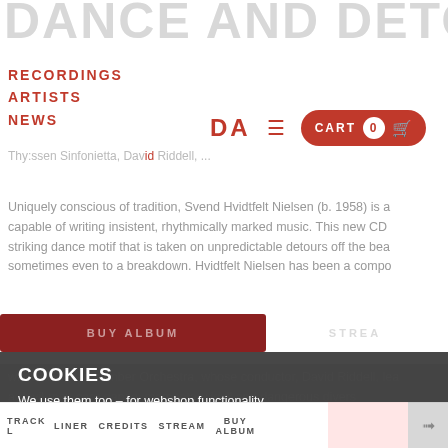DANCE AND DETOUR
RECORDINGS  ARTISTS  NEWS
Thy:ssen Sinfonietta, David Riddell, ...
Uniquely conscious of tradition, Svend Hvidtfelt Nielsen (b. 1958) is a composer capable of writing insistent, rhythmically marked music. This new CD has a striking dance motif that is taken on unpredictable detours off the beaten path – sometimes even to a breakdown. Hvidtfelt Nielsen has been a composer-in-residence with Randers Chamber Orchestra, whose conductor, David Riddell, lea... ... a devil-may-care dance, momentary idyll and dangerous diver...
COOKIES
We use them too – for webshop functionality and statistics.
No, show me your privacy policy
OK, FINE BY ME
NO, THANKS
TRACK  LINER  CREDITS  STREAM  BUY ALBUM